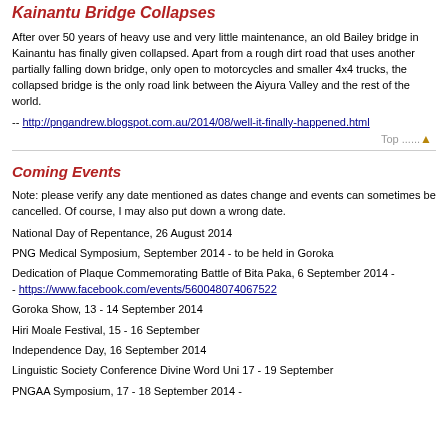Kainantu Bridge Collapses
After over 50 years of heavy use and very little maintenance, an old Bailey bridge in Kainantu has finally given collapsed. Apart from a rough dirt road that uses another partially falling down bridge, only open to motorcycles and smaller 4x4 trucks, the collapsed bridge is the only road link between the Aiyura Valley and the rest of the world.
-- http://pngandrew.blogspot.com.au/2014/08/well-it-finally-happened.html
Coming Events
Note: please verify any date mentioned as dates change and events can sometimes be cancelled. Of course, I may also put down a wrong date.
National Day of Repentance, 26 August 2014
PNG Medical Symposium, September 2014 - to be held in Goroka
Dedication of Plaque Commemorating Battle of Bita Paka, 6 September 2014 - - https://www.facebook.com/events/560048074067522
Goroka Show, 13 - 14 September 2014
Hiri Moale Festival, 15 - 16 September
Independence Day, 16 September 2014
Linguistic Society Conference Divine Word Uni 17 - 19 September
PNGAA Symposium, 17 - 18 September 2014 -